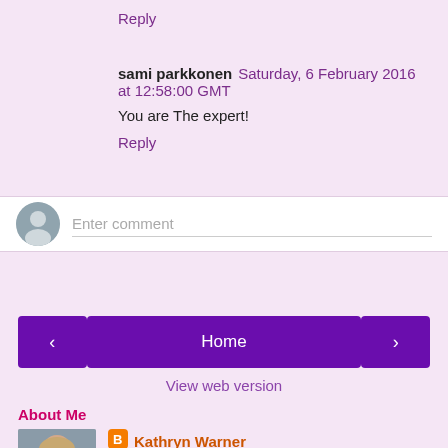Reply
sami parkkonen  Saturday, 6 February 2016 at 12:58:00 GMT
You are The expert!
Reply
Enter comment
Home
View web version
About Me
Kathryn Warner
I hold a BA and an MA with Distinction in Medieval History and Literature,